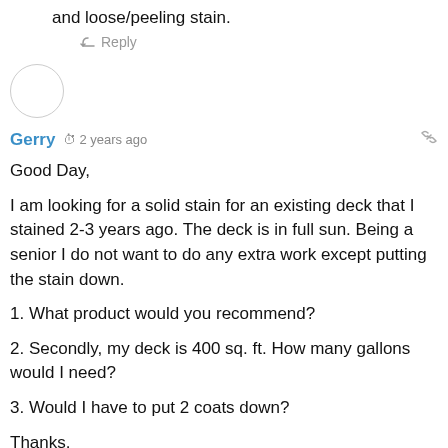and loose/peeling stain.
Reply
Gerry  2 years ago
Good Day,

I am looking for a solid stain for an existing deck that I stained 2-3 years ago. The deck is in full sun. Being a senior I do not want to do any extra work except putting the stain down.

1. What product would you recommend?

2. Secondly, my deck is 400 sq. ft. How many gallons would I need?

3. Would I have to put 2 coats down?

Thanks.